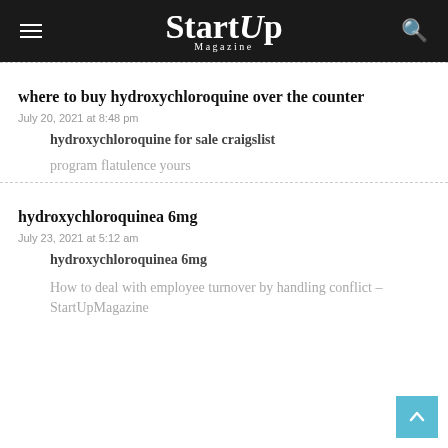StartUp Magazine
where to buy hydroxychloroquine over the counter
July 20, 2021 at 8:48 pm
hydroxychloroquine for sale craigslist
program flatulence yours
hydroxychloroquinea 6mg
July 23, 2021 at 5:12 am
hydroxychloroquinea 6mg
How to deal with employee turnover by handling conflict – StartUpMagazine